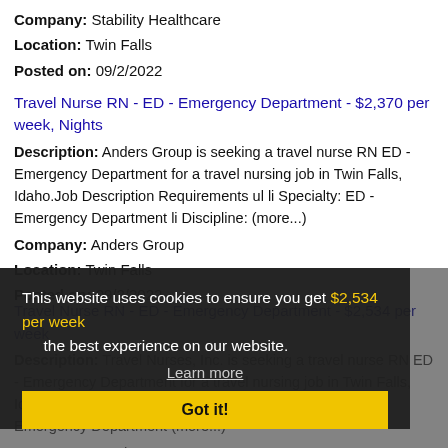Company: Stability Healthcare
Location: Twin Falls
Posted on: 09/2/2022
Travel Nurse RN - ED - Emergency Department - $2,370 per week, Nights
Description: Anders Group is seeking a travel nurse RN ED - Emergency Department for a travel nursing job in Twin Falls, Idaho.Job Description Requirements ul li Specialty: ED - Emergency Department li Discipline: (more...)
Company: Anders Group
Location: Twin Falls
Posted on: 09/2/2022
Travel Nurse RN - ED - Emergency Department - $2,534 per week
Description: Travel Nurses, Inc. is seeking a travel nurse RN ED - Emergency Department for a travel nursing job in Twin Falls, Idaho.Job Description Requirements ul li Specialty: ED - Emergency Department (more...)
Company: Travel Nurses, Inc.
Location: Twin Falls
Posted on: 09/2/2022
This website uses cookies to ensure you get the best experience on our website. Learn more Got it!